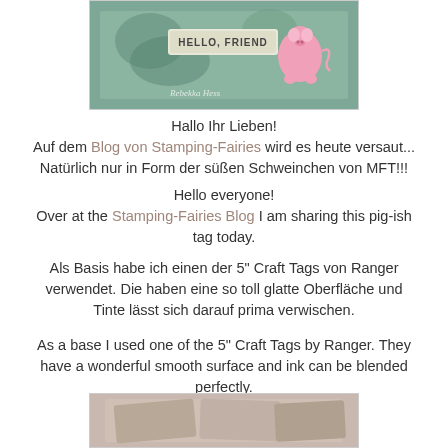[Figure (photo): Photo of a craft tag with 'HELLO, FRIEND' text and a pink pig character on a teal/green background, with a handwritten signature overlay.]
Hallo Ihr Lieben!
Auf dem Blog von Stamping-Fairies wird es heute versaut...
Natürlich nur in Form der süßen Schweinchen von MFT!!!
Hello everyone!
Over at the Stamping-Fairies Blog I am sharing this pig-ish tag today.
Als Basis habe ich einen der 5" Craft Tags von Ranger verwendet. Die haben eine so toll glatte Oberfläche und Tinte lässt sich darauf prima verwischen.
As a base I used one of the 5" Craft Tags by Ranger. They have a wonderful smooth surface and ink can be blended perfectly.
[Figure (photo): Partial photo of craft tags or supplies at the bottom of the page.]